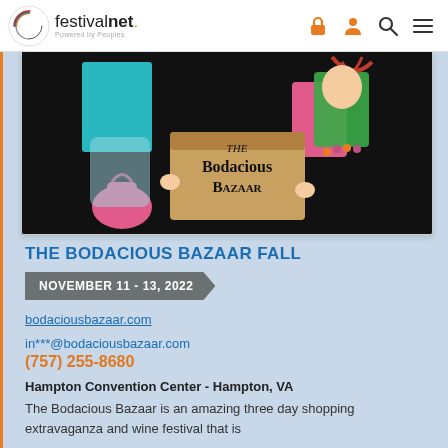festivalnet. Powered by Peoples — navigation icons
[Figure (illustration): Illustration of two women shopping with 'THE Bodacious BAZAAR' text on a cardboard box, on a black background]
THE BODACIOUS BAZAAR FALL
NOVEMBER 11 - 13, 2022
bodaciousbazaar.com
in***@bodaciousbazaar.com
(757) 255-8680
Hampton Convention Center - Hampton, VA
The Bodacious Bazaar is an amazing three day shopping extravaganza and wine festival that is